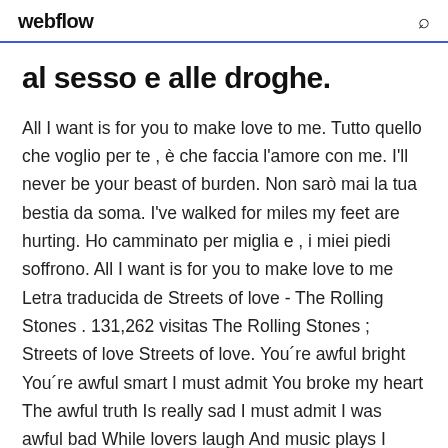webflow
al sesso e alle droghe.
All I want is for you to make love to me. Tutto quello che voglio per te , è che faccia l'amore con me. I'll never be your beast of burden. Non sarò mai la tua bestia da soma. I've walked for miles my feet are hurting. Ho camminato per miglia e , i miei piedi soffrono. All I want is for you to make love to me Letra traducida de Streets of love - The Rolling Stones . 131,262 visitas The Rolling Stones ; Streets of love Streets of love. You´re awful bright You´re awful smart I must admit You broke my heart The awful truth Is really sad I must admit I was awful bad While lovers laugh And music plays I